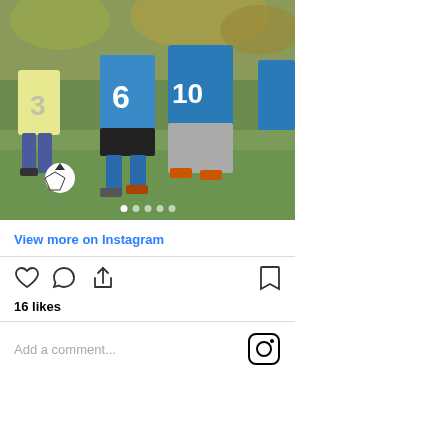[Figure (photo): Children playing soccer/football on a grass field. Players wearing blue jerseys with numbers 3, 6, and 10. A soccer ball visible on the ground. Autumn foliage in background.]
View more on Instagram
[Figure (other): Instagram action bar with heart (like), comment bubble, share, and bookmark icons. Shows 16 likes.]
16 likes
Add a comment...